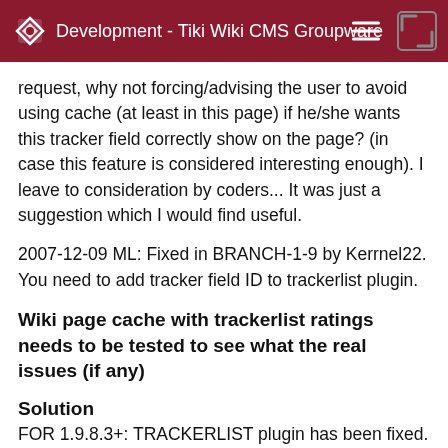Development - Tiki Wiki CMS Groupware
request, why not forcing/advising the user to avoid using cache (at least in this page) if he/she wants this tracker field correctly show on the page? (in case this feature is considered interesting enough). I leave to consideration by coders... It was just a suggestion which I would find useful.
2007-12-09 ML: Fixed in BRANCH-1-9 by Kerrnel22. You need to add tracker field ID to trackerlist plugin.
Wiki page cache with trackerlist ratings needs to be tested to see what the real issues (if any)
Solution
FOR 1.9.8.3+: TRACKERLIST plugin has been fixed. There were checks for specific admin or view permissions on tracker and vote related things in the template, however if you had tiki_p_admin set, it bypassed sending